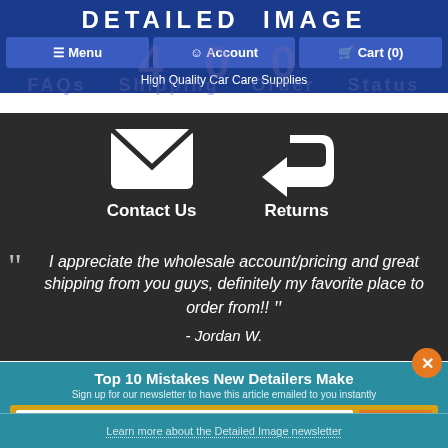DETAILED IMAGE
Menu  Account  Cart (0)
High Quality Car Care Supplies
[Figure (infographic): Contact Us icon (envelope) and Returns icon (reply arrow) with labels below on dark background]
I appreciate the wholesale account/pricing and great shipping from you guys, definitely my favorite place to order from!! - Jordan W.
Top 10 Mistakes New Detailers Make
Sign up for our newsletter to have this article emailed to you instantly
Enter email address
Sign Up
Learn more about the Detailed Image newsletter